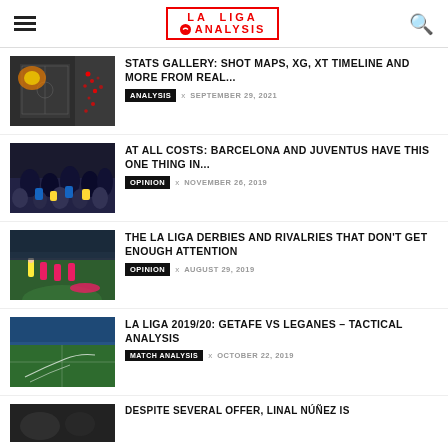LA LIGA ANALYSIS
STATS GALLERY: SHOT MAPS, XG, XT TIMELINE AND MORE FROM REAL...
ANALYSIS × SEPTEMBER 29, 2021
AT ALL COSTS: BARCELONA AND JUVENTUS HAVE THIS ONE THING IN...
OPINION × NOVEMBER 26, 2019
THE LA LIGA DERBIES AND RIVALRIES THAT DON'T GET ENOUGH ATTENTION
OPINION × AUGUST 29, 2019
LA LIGA 2019/20: GETAFE VS LEGANES – TACTICAL ANALYSIS
MATCH ANALYSIS × OCTOBER 22, 2019
DESPITE SEVERAL OFFER, LINAL NÚÑEZ IS